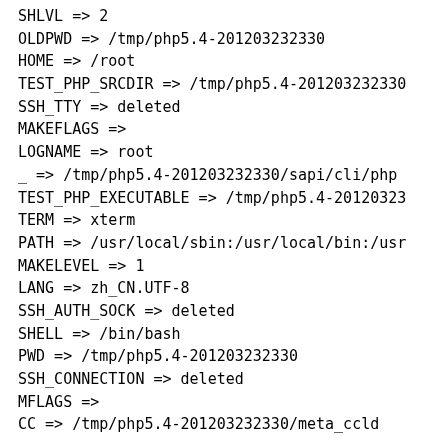SHLVL => 2
OLDPWD => /tmp/php5.4-201203232330
HOME => /root
TEST_PHP_SRCDIR => /tmp/php5.4-201203232330
SSH_TTY => deleted
MAKEFLAGS =>
LOGNAME => root
_ => /tmp/php5.4-201203232330/sapi/cli/php
TEST_PHP_EXECUTABLE => /tmp/php5.4-20120323
TERM => xterm
PATH => /usr/local/sbin:/usr/local/bin:/usr
MAKELEVEL => 1
LANG => zh_CN.UTF-8
SSH_AUTH_SOCK => deleted
SHELL => /bin/bash
PWD => /tmp/php5.4-201203232330
SSH_CONNECTION => deleted
MFLAGS =>
CC => /tmp/php5.4-201203232330/meta_ccld